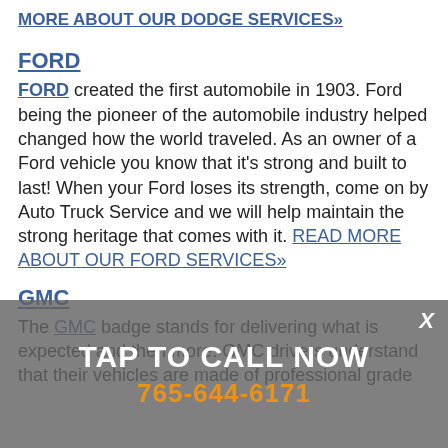MORE ABOUT OUR DODGE SERVICES»
FORD
FORD created the first automobile in 1903. Ford being the pioneer of the automobile industry helped changed how the world traveled. As an owner of a Ford vehicle you know that it's strong and built to last! When your Ford loses its strength, come on by Auto Truck Service and we will help maintain the strong heritage that comes with it. READ MORE ABOUT OUR FORD SERVICES»
GMC
The GMC badge stands for delivering what is expected and then more. GMC drivers understand that their vehicles are made of professional grade
TAP TO CALL NOW
765-644-6171